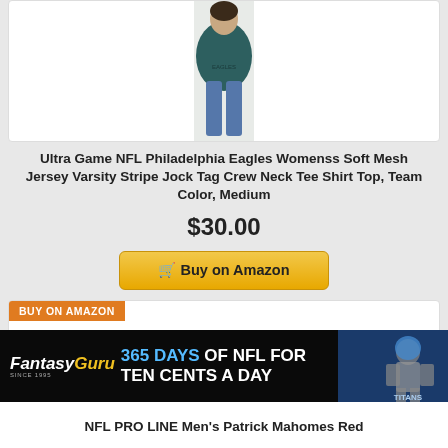[Figure (photo): Woman wearing dark teal Philadelphia Eagles jersey top, cropped view showing torso and legs in jeans]
Ultra Game NFL Philadelphia Eagles Womenss Soft Mesh Jersey Varsity Stripe Jock Tag Crew Neck Tee Shirt Top, Team Color, Medium
$30.00
Buy on Amazon
BUY ON AMAZON
[Figure (photo): Two overlapping red Kansas City Chiefs #15 Mahomes jerseys]
[Figure (photo): FantasyGuru advertisement banner: 365 DAYS OF NFL FOR TEN CENTS A DAY with football player photo]
NFL PRO LINE Men's Patrick Mahomes Red